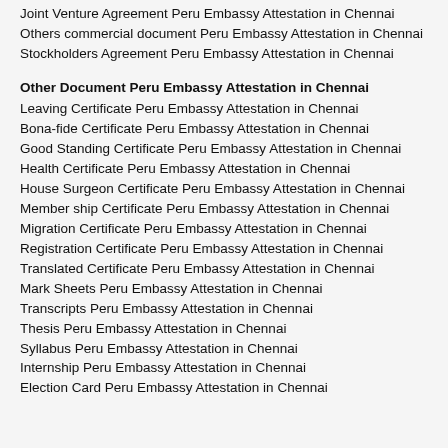Joint Venture Agreement Peru Embassy Attestation in Chennai
Others commercial document Peru Embassy Attestation in Chennai
Stockholders Agreement Peru Embassy Attestation in Chennai
Other Document Peru Embassy Attestation in Chennai
Leaving Certificate Peru Embassy Attestation in Chennai
Bona-fide Certificate Peru Embassy Attestation in Chennai
Good Standing Certificate Peru Embassy Attestation in Chennai
Health Certificate Peru Embassy Attestation in Chennai
House Surgeon Certificate Peru Embassy Attestation in Chennai
Member ship Certificate Peru Embassy Attestation in Chennai
Migration Certificate Peru Embassy Attestation in Chennai
Registration Certificate Peru Embassy Attestation in Chennai
Translated Certificate Peru Embassy Attestation in Chennai
Mark Sheets Peru Embassy Attestation in Chennai
Transcripts Peru Embassy Attestation in Chennai
Thesis Peru Embassy Attestation in Chennai
Syllabus Peru Embassy Attestation in Chennai
Internship Peru Embassy Attestation in Chennai
Election Card Peru Embassy Attestation in Chennai